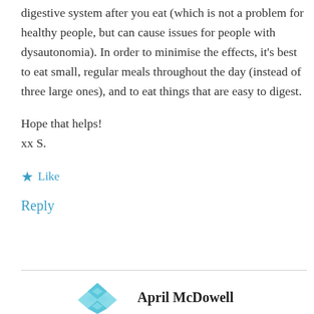digestive system after you eat (which is not a problem for healthy people, but can cause issues for people with dysautonomia). In order to minimise the effects, it's best to eat small, regular meals throughout the day (instead of three large ones), and to eat things that are easy to digest.
Hope that helps!
xx S.
★ Like
Reply
April McDowell